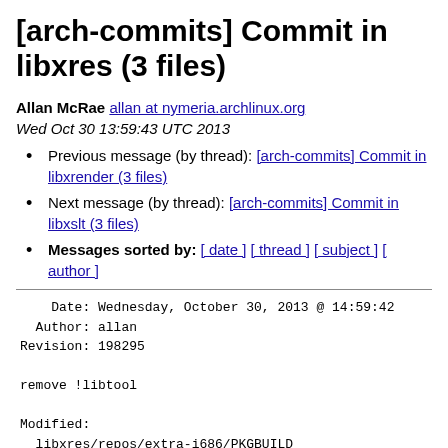[arch-commits] Commit in libxres (3 files)
Allan McRae allan at nymeria.archlinux.org
Wed Oct 30 13:59:43 UTC 2013
Previous message (by thread): [arch-commits] Commit in libxrender (3 files)
Next message (by thread): [arch-commits] Commit in libxslt (3 files)
Messages sorted by: [ date ] [ thread ] [ subject ] [ author ]
Date: Wednesday, October 30, 2013 @ 14:59:42
  Author: allan
Revision: 198295

remove !libtool

Modified:
  libxres/repos/extra-i686/PKGBUILD
  libxres/repos/extra-x86_64/PKGBUILD
  libxres/trunk/PKGBUILD